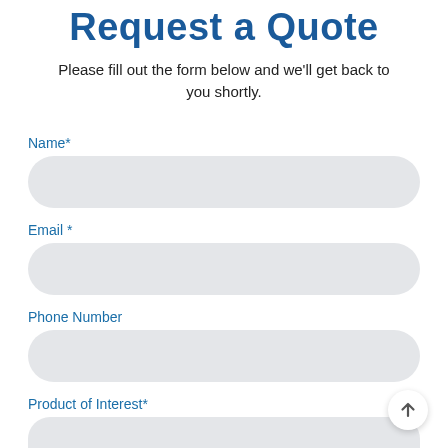Request a Quote
Please fill out the form below and we'll get back to you shortly.
Name*
Email *
Phone Number
Product of Interest*